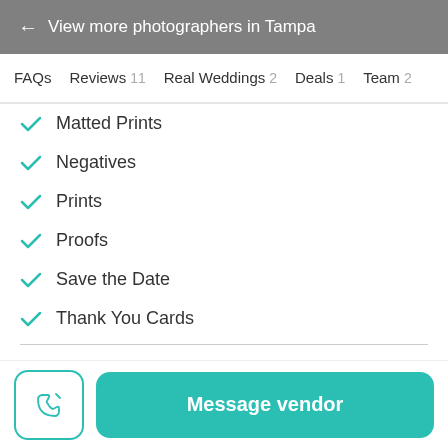← View more photographers in Tampa
FAQs   Reviews 11   Real Weddings 2   Deals 1   Team 2
Matted Prints
Negatives
Prints
Proofs
Save the Date
Thank You Cards
Which of the following are included in the starting price?
Message vendor